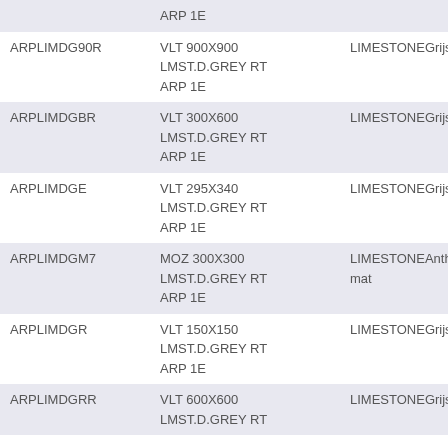|  | ARP 1E |  |
| ARPLIMDG90R | VLT 900X900
LMST.D.GREY RT
ARP 1E | LIMESTONEGrijs mat |
| ARPLIMDGBR | VLT 300X600
LMST.D.GREY RT
ARP 1E | LIMESTONEGrijs mat |
| ARPLIMDGE | VLT 295X340
LMST.D.GREY RT
ARP 1E | LIMESTONEGrijs mat |
| ARPLIMDGM7 | MOZ 300X300
LMST.D.GREY RT
ARP 1E | LIMESTONEAnthraciet mat |
| ARPLIMDGR | VLT 150X150
LMST.D.GREY RT
ARP 1E | LIMESTONEGrijs mat |
| ARPLIMDGRR | VLT 600X600
LMST.D.GREY RT | LIMESTONEGrijs mat |